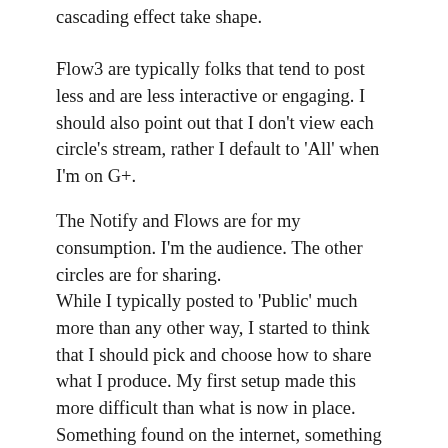cascading effect take shape.
Flow3 are typically folks that tend to post less and are less interactive or engaging. I should also point out that I don't view each circle's stream, rather I default to 'All' when I'm on G+.
The Notify and Flows are for my consumption. I'm the audience. The other circles are for sharing.
While I typically posted to 'Public' much more than any other way, I started to think that I should pick and choose how to share what I produce. My first setup made this more difficult than what is now in place. Something found on the internet, something catering a broader audience, can be shared publicly while more personal topics can be shared to specific circle(s). One example is that I may want to post what kind of beer I'm enjoying, but not post publicly